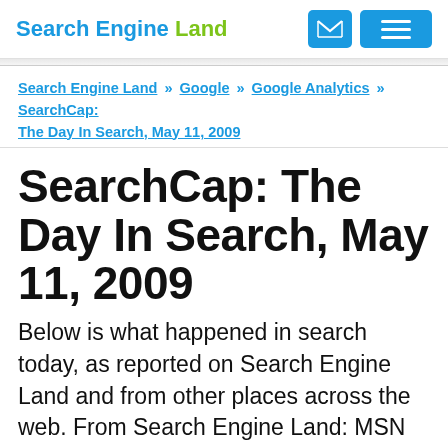Search Engine Land
Search Engine Land » Google » Google Analytics » SearchCap: The Day In Search, May 11, 2009
SearchCap: The Day In Search, May 11, 2009
Below is what happened in search today, as reported on Search Engine Land and from other places across the web. From Search Engine Land: MSN Overhauls City